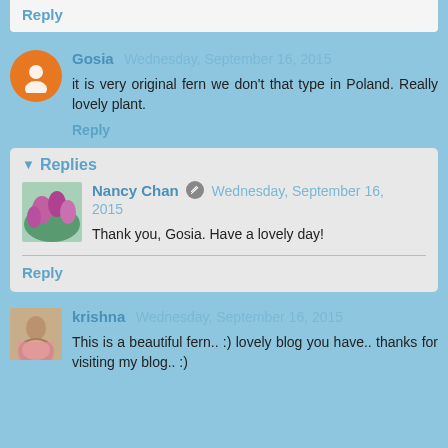Reply
Gosia Wednesday, September 16, 2015
it is very original fern we don't that type in Poland. Really lovely plant.
Reply
Replies
Nancy Chan Wednesday, September 16, 2015
Thank you, Gosia. Have a lovely day!
Reply
krishna Wednesday, September 16, 2015
This is a beautiful fern.. :) lovely blog you have.. thanks for visiting my blog.. :)